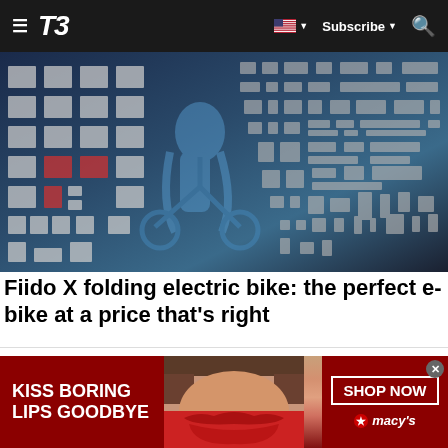T3 — Subscribe
[Figure (photo): Hero image of an electric bike against a digital circuit board / technology background with blue tones and glowing grid pattern]
Fiido X folding electric bike: the perfect e-bike at a price that's right
[Figure (infographic): Advertisement banner: KISS BORING LIPS GOODBYE — center image of a woman's face with red lips — SHOP NOW button — macys logo]